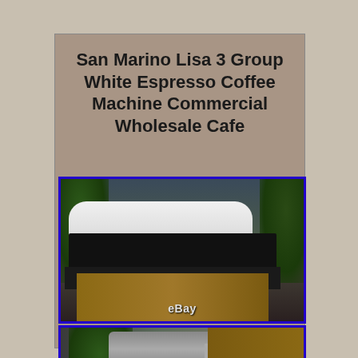San Marino Lisa 3 Group White Espresso Coffee Machine Commercial Wholesale Cafe
[Figure (photo): A white San Marino Lisa 3 Group commercial espresso machine sitting on a wooden surface in a cafe setting, surrounded by green plants. An eBay watermark is visible at the bottom center.]
[Figure (photo): A partial view of espresso machine equipment in a cafe environment, showing metal pipes, green plants on the left, and wooden shelving on the right.]